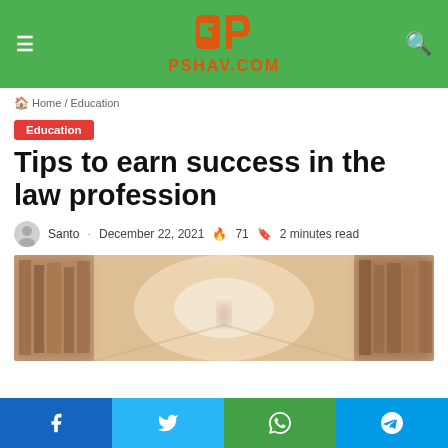PSHAV.COM
Home / Education
Education
Tips to earn success in the law profession
Santo · December 22, 2021 🔥 71 📖 2 minutes read
[Figure (photo): Blurred photo of a library corridor with bookshelves on both sides]
Facebook | Twitter | WhatsApp | Telegram